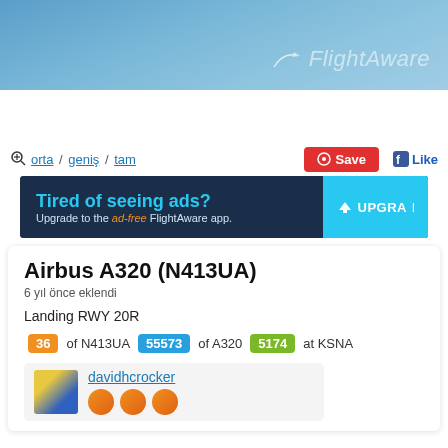[Figure (screenshot): FlightAware website header banner with blue sky background and FlightAware logo in white/translucent text]
orta / geniş / tam
Save
Like
[Figure (screenshot): FlightAware advertisement banner: 'Tired of seeing ads? Upgrade to the ad-free FlightAware app.' with UPGRADE button]
Airbus A320 (N413UA)
6 yıl önce eklendi
Landing RWY 20R
36 of N413UA   55573 of A320   5174 at KSNA
davidhcrocker